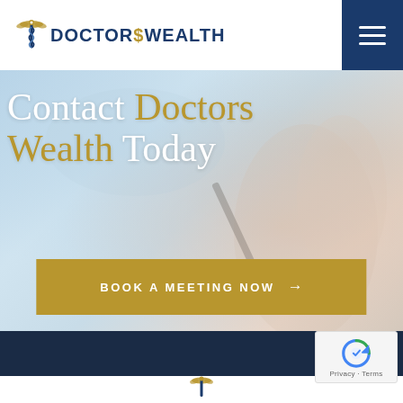[Figure (logo): Doctors Wealth logo with caduceus symbol and dollar sign, text in navy blue and gold]
[Figure (other): Hamburger menu button, dark navy blue square with three white horizontal lines]
[Figure (photo): Hero background photo of hands writing on paper, blurred/bokeh effect, light blue and warm tones]
Contact Doctors Wealth Today
BOOK A MEETING NOW →
[Figure (other): reCAPTCHA badge with Google reCAPTCHA logo, Privacy and Terms links]
[Figure (logo): Doctors Wealth logo partial caduceus at bottom of page]